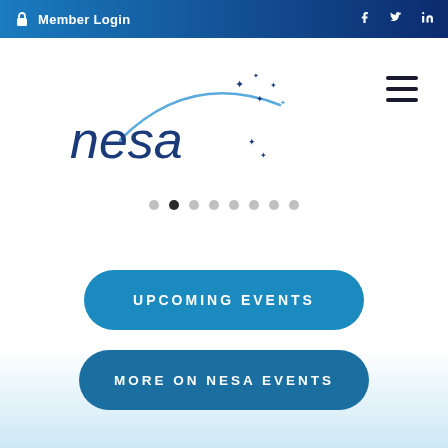Member Login
[Figure (logo): NESA logo with arc and stars in blue tones]
[Figure (other): Carousel pagination dots, 8 dots with second dot active]
UPCOMING EVENTS
MORE ON NESA EVENTS